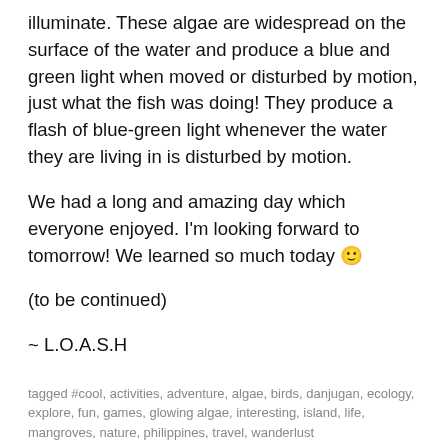illuminate. These algae are widespread on the surface of the water and produce a blue and green light when moved or disturbed by motion, just what the fish was doing! They produce a flash of blue-green light whenever the water they are living in is disturbed by motion.
We had a long and amazing day which everyone enjoyed. I'm looking forward to tomorrow! We learned so much today 🙂
(to be continued)
~ L.O.A.S.H
tagged #cool, activities, adventure, algae, birds, danjugan, ecology, explore, fun, games, glowing algae, interesting, island, life, mangroves, nature, philippines, travel, wanderlust